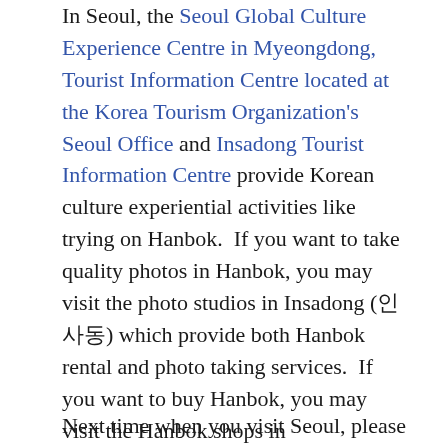In Seoul, the Seoul Global Culture Experience Centre in Myeongdong, Tourist Information Centre located at the Korea Tourism Organization's Seoul Office and Insadong Tourist Information Centre provide Korean culture experiential activities like trying on Hanbok.  If you want to take quality photos in Hanbok, you may visit the photo studios in Insadong (인사동) which provide both Hanbok rental and photo taking services.  If you want to buy Hanbok, you may visit the Hanbok shops in Dongdaemun Shopping Complex (동대문쇼핑컴플렉스), Gwangjang Market (광장시장) and Insadong where you can buy ready-made and custom-made Hanbok.
Next time when you visit Seoul, please don't